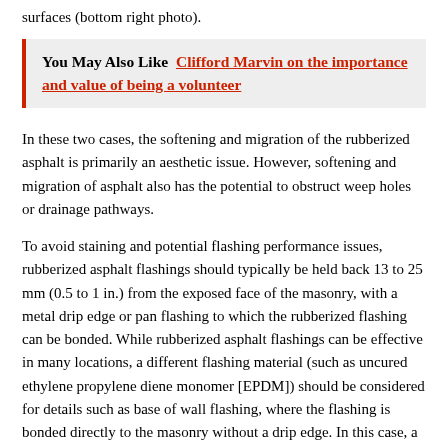surfaces (bottom right photo).
You May Also Like  Clifford Marvin on the importance and value of being a volunteer
In these two cases, the softening and migration of the rubberized asphalt is primarily an aesthetic issue. However, softening and migration of asphalt also has the potential to obstruct weep holes or drainage pathways.
To avoid staining and potential flashing performance issues, rubberized asphalt flashings should typically be held back 13 to 25 mm (0.5 to 1 in.) from the exposed face of the masonry, with a metal drip edge or pan flashing to which the rubberized flashing can be bonded. While rubberized asphalt flashings can be effective in many locations, a different flashing material (such as uncured ethylene propylene diene monomer [EPDM]) should be considered for details such as base of wall flashing, where the flashing is bonded directly to the masonry without a drip edge. In this case, a high-temperature-tolerant sheet flashing can be installed to extend beyond the face of the wall and then trimmed flush with the face of the completed masonry.